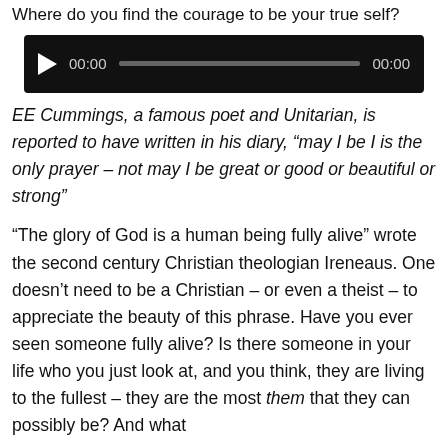Where do you find the courage to be your true self?
[Figure (other): Audio player widget with play button, time display 00:00, progress bar, and duration 00:00 on a black background]
EE Cummings, a famous poet and Unitarian, is reported to have written in his diary, “may I be I is the only prayer – not may I be great or good or beautiful or strong”
“The glory of God is a human being fully alive” wrote the second century Christian theologian Ireneaus. One doesn’t need to be a Christian – or even a theist – to appreciate the beauty of this phrase. Have you ever seen someone fully alive? Is there someone in your life who you just look at, and you think, they are living to the fullest – they are the most them that they can possibly be? And what